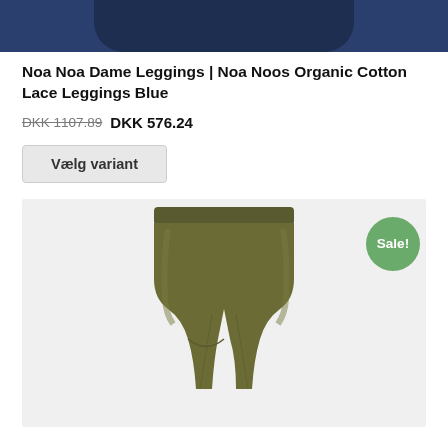[Figure (photo): Top portion of a dark navy blue leggings product photo, cropped at the top of the page.]
Noa Noa Dame Leggings | Noa Noos Organic Cotton Lace Leggings Blue
DKK 1107.89 DKK 576.24
Vælg variant
[Figure (photo): Product photo of olive/khaki green short leggings (biker shorts style) on a light grey background, with a green 'Sale!' badge in the top right corner.]